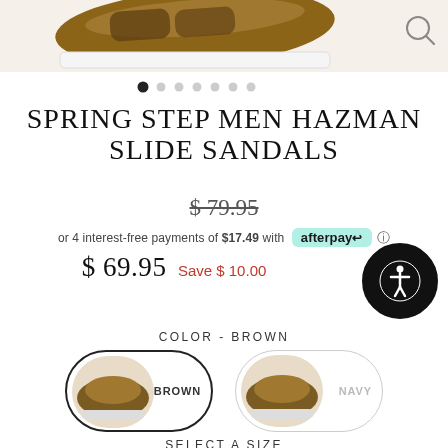[Figure (photo): Top portion of a sandal shoe product image cropped at top of page, with magnify icon top right]
[Figure (other): Carousel navigation dots, first dot filled/active, six additional grey dots]
SPRING STEP MEN HAZMAN SLIDE SANDALS
$ 79.95 (strikethrough original price)
or 4 interest-free payments of $17.49 with afterpay
$ 69.95  Save $ 10.00
COLOR - BROWN
[Figure (other): Two color swatches side by side: BROWN (selected, with dark border outline) and NAVY (unselected), each showing a small sandal thumbnail]
SELECT A SIZE